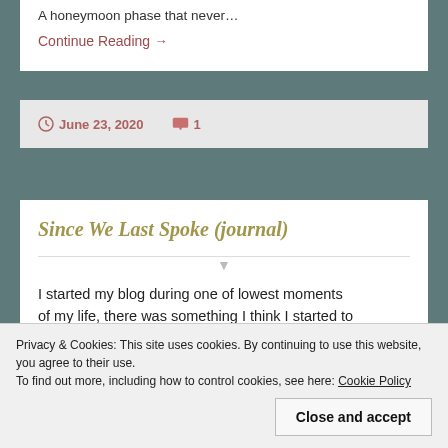A honeymoon phase that never…
Continue Reading →
June 23, 2020  1
Since We Last Spoke (journal)
I started my blog during one of lowest moments of my life, there was something I think I started to…
Continue Reading →
Privacy & Cookies: This site uses cookies. By continuing to use this website, you agree to their use. To find out more, including how to control cookies, see here: Cookie Policy
Close and accept